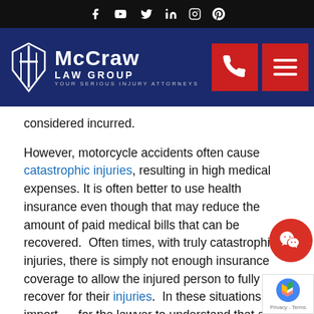[Figure (screenshot): Social media icons bar (Facebook, YouTube, Twitter, LinkedIn, Instagram, Pinterest) on black background]
[Figure (logo): McCraw Law Group logo with navy blue background, white sword/shield icon, 'McCRAW LAW GROUP YOUR SERIOUS INJURY ATTORNEYS' text, red phone button and red menu button]
considered incurred.
However, motorcycle accidents often cause catastrophic injuries, resulting in high medical expenses. It is often better to use health insurance even though that may reduce the amount of paid medical bills that can be recovered.  Often times, with truly catastrophic injuries, there is simply not enough insurance coverage to allow the injured person to fully recover for their injuries.  In these situations, it is important for the lawyer to understand that and to make sure that the injuries are proven up in a manner that takes a bad situation and makes it survivable for the injured person.  Every case is different.  The approach that the personal injury lawyer will take will differ depending upon factors like potential recovery available, medical evidence needed to prove the claim, and